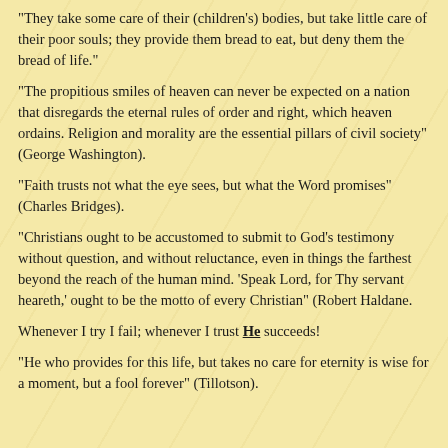"They take some care of their (children's) bodies, but take little care of their poor souls; they provide them bread to eat, but deny them the bread of life."
"The propitious smiles of heaven can never be expected on a nation that disregards the eternal rules of order and right, which heaven ordains. Religion and morality are the essential pillars of civil society" (George Washington).
"Faith trusts not what the eye sees, but what the Word promises" (Charles Bridges).
"Christians ought to be accustomed to submit to God's testimony without question, and without reluctance, even in things the farthest beyond the reach of the human mind. 'Speak Lord, for Thy servant heareth,' ought to be the motto of every Christian" (Robert Haldane.
Whenever I try I fail; whenever I trust He succeeds!
"He who provides for this life, but takes no care for eternity is wise for a moment, but a fool forever" (Tillotson).